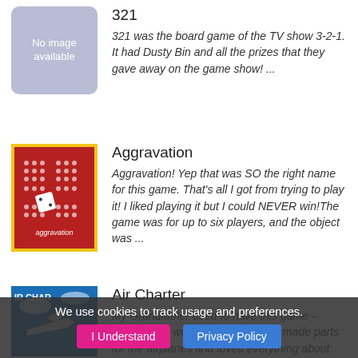[Figure (illustration): Grey placeholder box with text 'No image available']
321
321 was the board game of the TV show 3-2-1. It had Dusty Bin and all the prizes that they gave away on the game show! ...
[Figure (photo): Aggravation board game box - red background with grid of dots and dice, yellow border]
Aggravation
Aggravation! Yep that was SO the right name for this game. That's all I got from trying to play it! I liked playing it but I could NEVER win!The game was for up to six players, and the object was ...
[Figure (photo): Air Charter board game box - showing airplane and sky]
Air Charter
My Grandfather used to have this game – because he worked at Boeing. He made parts for the airplanes and loved everything about the air. I used to get infected by his own...
We use cookies to track usage and preferences.
I Understand   Privacy Policy